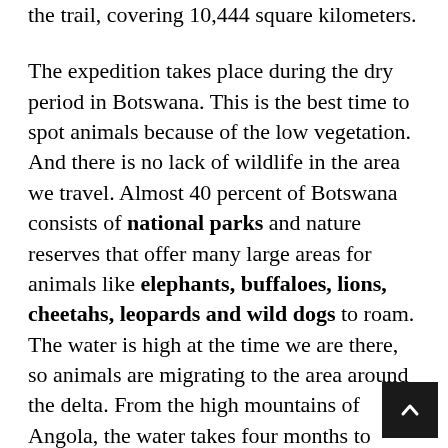the trail, covering 10,444 square kilometers.
The expedition takes place during the dry period in Botswana. This is the best time to spot animals because of the low vegetation. And there is no lack of wildlife in the area we travel. Almost 40 percent of Botswana consists of national parks and nature reserves that offer many large areas for animals like elephants, buffaloes, lions, cheetahs, leopards and wild dogs to roam. The water is high at the time we are there, so animals are migrating to the area around the delta. From the high mountains of Angola, the water takes four months to reach the Okavango Delta. Because